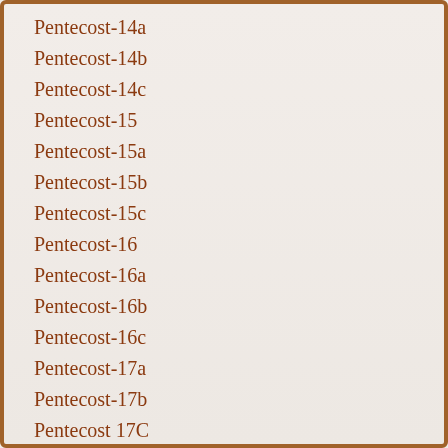Pentecost-14a
Pentecost-14b
Pentecost-14c
Pentecost-15
Pentecost-15a
Pentecost-15b
Pentecost-15c
Pentecost-16
Pentecost-16a
Pentecost-16b
Pentecost-16c
Pentecost-17a
Pentecost-17b
Pentecost 17C
Pentecost-18a
Pentecost-18b
Pentecost 18 C
Pentecost-19a
Pentecost-19b